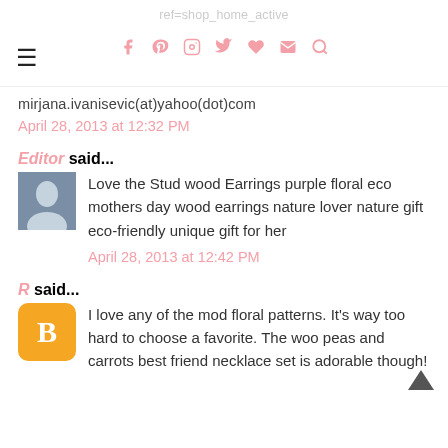ref=shop_home_active [navigation icons: facebook, pinterest, instagram, twitter, heart, mail, search]
mirjana.ivanisevic(at)yahoo(dot)com
April 28, 2013 at 12:32 PM
Editor said...
Love the Stud wood Earrings purple floral eco mothers day wood earrings nature lover nature gift eco-friendly unique gift for her
April 28, 2013 at 12:42 PM
R said...
I love any of the mod floral patterns. It's way too hard to choose a favorite. The woo peas and carrots best friend necklace set is adorable though!